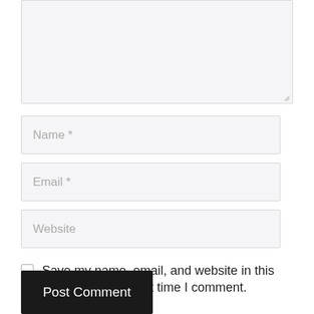[Figure (screenshot): A textarea input field with light gray background and a resize handle in the bottom right corner]
Name *
Email *
Website
Save my name, email, and website in this browser for the next time I comment.
Post Comment